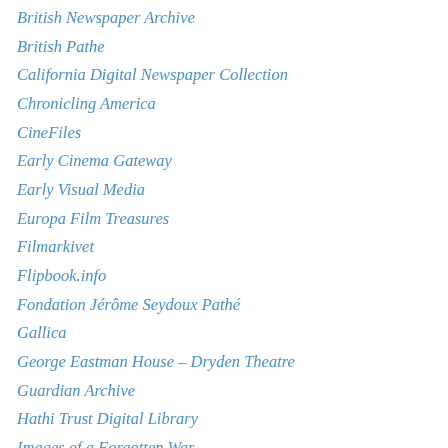British Newspaper Archive
British Pathe
California Digital Newspaper Collection
Chronicling America
CineFiles
Early Cinema Gateway
Early Visual Media
Europa Film Treasures
Filmarkivet
Flipbook.info
Fondation Jérôme Seydoux Pathé
Gallica
George Eastman House – Dryden Theatre
Guardian Archive
Hathi Trust Digital Library
Images of a Forgotten War
Internet Archive
JSTOR (Early Journal Content)
Kansas Board of Review Movie Index
National Fairground Archive